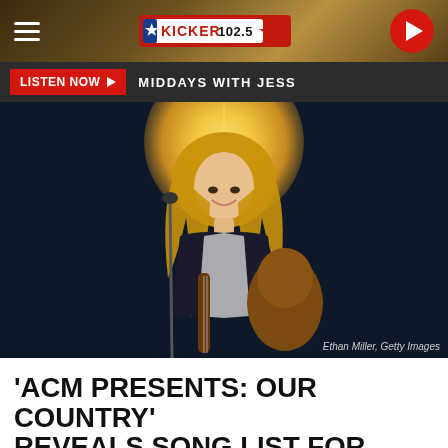Kicker 102.5 - navigation bar with hamburger menu, Kicker 102.5 logo, and play button
LISTEN NOW ▶  MIDDAYS WITH JESS
[Figure (photo): Female country music artist with long blonde hair, wearing black and white outfit, holding a guitar, performing on stage with a spotlight behind her. Credit: Ethan Miller, Getty Images]
Ethan Miller, Getty Images
'ACM PRESENTS: OUR COUNTRY' REVEALS SONG LIST FOR